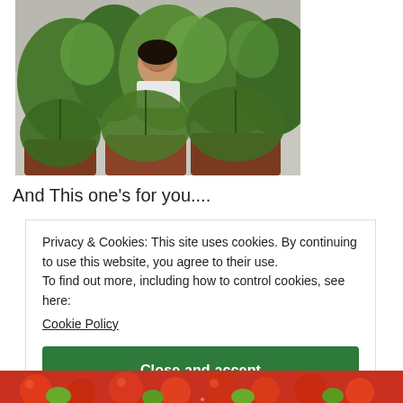[Figure (photo): Woman smiling behind several potted plants with green leafy plants in terracotta and dark pots on a rooftop or terrace]
And This one's for you....
Privacy & Cookies: This site uses cookies. By continuing to use this website, you agree to their use.
To find out more, including how to control cookies, see here:
Cookie Policy
Close and accept
[Figure (photo): Close-up of red tomatoes and green peppers at the bottom of the page]